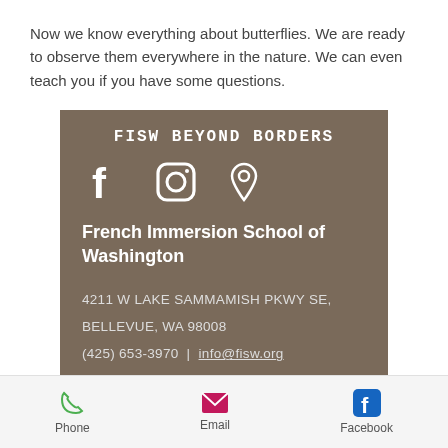Now we know everything about butterflies. We are ready to observe them everywhere in the nature. We can even teach you if you have some questions.
FISW BEYOND BORDERS
French Immersion School of Washington
4211 W LAKE SAMMAMISH PKWY SE, BELLEVUE, WA 98008
(425) 653-3970 | info@fisw.org
Phone   Email   Facebook